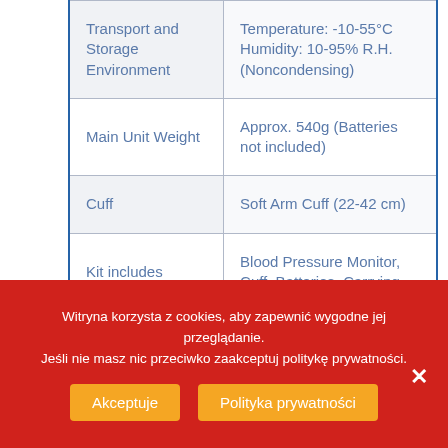| Feature | Value |
| --- | --- |
| Transport and Storage Environment | Temperature: -10-55°C Humidity: 10-95% R.H. (Noncondensing) |
| Main Unit Weight | Approx. 540g (Batteries not included) |
| Cuff | Soft Arm Cuff (22-42 cm) |
| Kit includes | Blood Pressure Monitor, Cuff, Batteries, Carrying |
Witryna korzysta z cookies, aby zapewnić wygodne jej przeglądanie. Jeśli nie masz nic przeciwko zaakceptuj politykę prywatności.
Akceptuje | Polityka prywatności